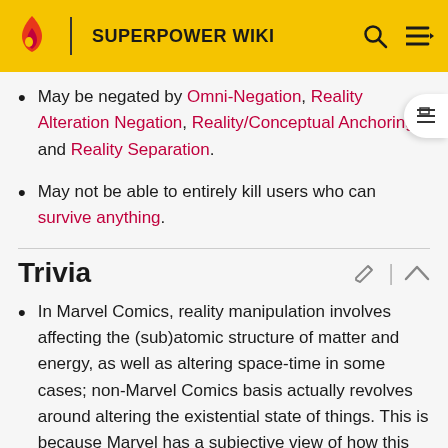SUPERPOWER WIKI
May be negated by Omni-Negation, Reality Alteration Negation, Reality/Conceptual Anchoring, and Reality Separation.
May not be able to entirely kill users who can survive anything.
Trivia
In Marvel Comics, reality manipulation involves affecting the (sub)atomic structure of matter and energy, as well as altering space-time in some cases; non-Marvel Comics basis actually revolves around altering the existential state of things. This is because Marvel has a subjective view of how this power might be used.